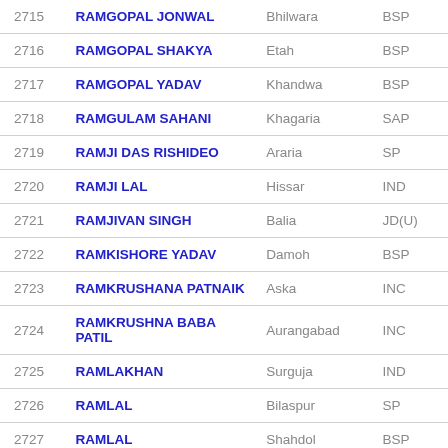| # | Name | Constituency | Party |
| --- | --- | --- | --- |
| 2715 | RAMGOPAL JONWAL | Bhilwara | BSP |
| 2716 | RAMGOPAL SHAKYA | Etah | BSP |
| 2717 | RAMGOPAL YADAV | Khandwa | BSP |
| 2718 | RAMGULAM SAHANI | Khagaria | SAP |
| 2719 | RAMJI DAS RISHIDEO | Araria | SP |
| 2720 | RAMJI LAL | Hissar | IND |
| 2721 | RAMJIVAN SINGH | Balia | JD(U) |
| 2722 | RAMKISHORE YADAV | Damoh | BSP |
| 2723 | RAMKRUSHANA PATNAIK | Aska | INC |
| 2724 | RAMKRUSHNA BABA PATIL | Aurangabad | INC |
| 2725 | RAMLAKHAN | Surguja | IND |
| 2726 | RAMLAL | Bilaspur | SP |
| 2727 | RAMLAL | Shahdol | BSP |
| 2728 | RAMMURTI KESHVRAO | ... | ... |